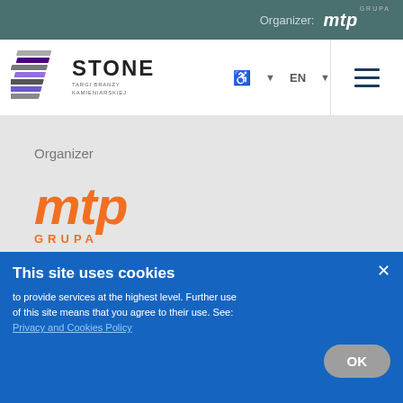Organizer: mtp GRUPA
[Figure (logo): STONE - Targi Branży Kamieniarskiej logo with stylized stone graphic]
♿ ∨  EN ∨  ≡
Organizer
[Figure (logo): mtp GRUPA logo in orange italic text]
Our venues
[Figure (logo): Venue logos: Międzynarodowe Targi Poznańskie, Poznań Congress Center (P-CIC), ARENA POZNAŃ]
This site uses cookies
to provide services at the highest level. Further use of this site means that you agree to their use. See Privacy and Cookies Policy